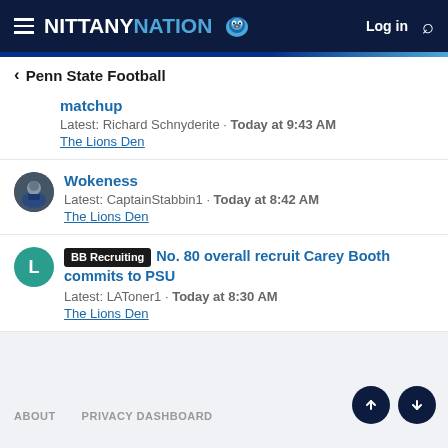NITTANY NATION — Log in
Penn State Football
matchup
Latest: Richard Schnyderite · Today at 9:43 AM
The Lions Den
Wokeness
Latest: CaptainStabbin1 · Today at 8:42 AM
The Lions Den
BB Recruiting — No. 80 overall recruit Carey Booth commits to PSU
Latest: LAToner1 · Today at 8:30 AM
The Lions Den
ABOUT   PRIVACY DASHBOARD